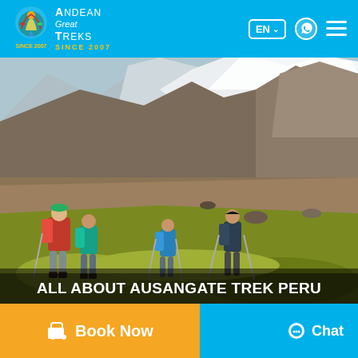[Figure (logo): Andean Great Treks logo with colorful bird/person icon and text 'Andean Great Treks Since 2007' on cyan header bar with EN language selector, WhatsApp icon, and hamburger menu]
[Figure (photo): Four hikers with backpacks and trekking poles walking away from camera through alpine meadow with snow-capped rocky mountain and glacier in background, Ausangate Trek Peru]
ALL ABOUT AUSANGATE TREK PERU
Book Now
Chat